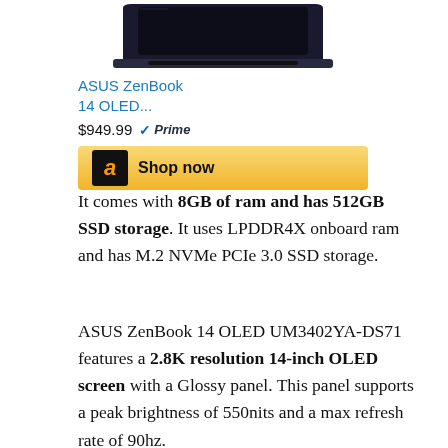[Figure (screenshot): Product card showing ASUS ZenBook 14 OLED laptop image, product title link in blue, price $949.99 with Prime badge, and Amazon Shop now button with gold background]
It comes with 8GB of ram and has 512GB SSD storage. It uses LPDDR4X onboard ram and has M.2 NVMe PCIe 3.0 SSD storage.
ASUS ZenBook 14 OLED UM3402YA-DS71 features a 2.8K resolution 14-inch OLED screen with a Glossy panel. This panel supports a peak brightness of 550nits and a max refresh rate of 90hz.